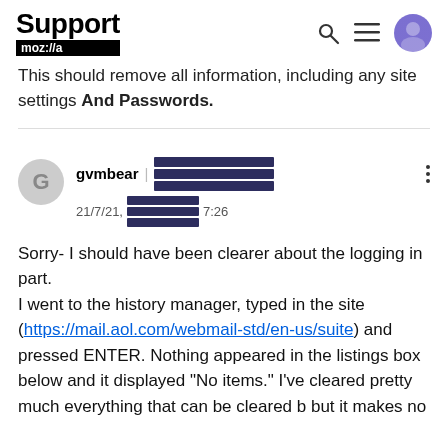Support mozilla | [search icon] [menu icon] [avatar icon]
This should remove all information, including any site settings And Passwords.
gvmbear | [redacted] 21/7/21, [redacted] 7:26
Sorry- I should have been clearer about the logging in part.
I went to the history manager, typed in the site (https://mail.aol.com/webmail-std/en-us/suite) and pressed ENTER. Nothing appeared in the listings box below and it displayed "No items." I've cleared pretty much everything that can be cleared b but it makes no